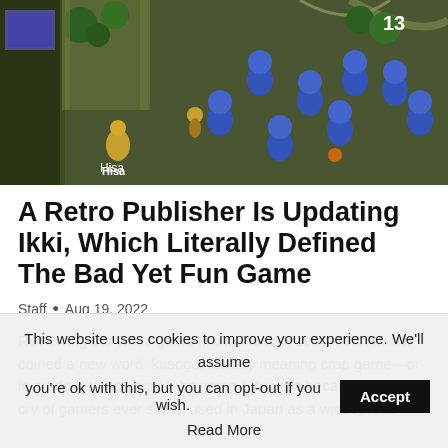[Figure (screenshot): Top-down video game screenshot showing a character named 'Hisa' fighting multiple blue-robed enemies on a green field, with the number 13 displayed in the top-right corner.]
A Retro Publisher Is Updating Ikki, Which Literally Defined The Bad Yet Fun Game
Staff • Aug 19, 2022
Reviewing the video game Ikki in the mid-1980s, Jun Miura coined a new word: kusoge, literally meaning crap game—or in modern translation: "shit game." Kusoge became a rallying cry of gamers ever since, used in Japan as a widespread
This website uses cookies to improve your experience. We'll assume you're ok with this, but you can opt-out if you wish.
Accept
Read More